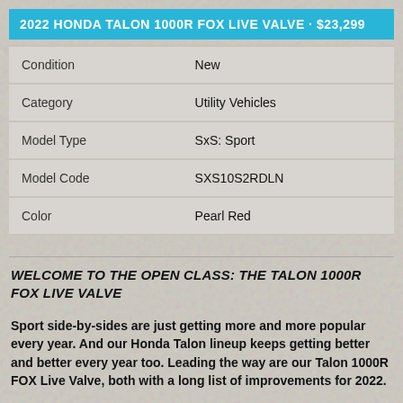2022 HONDA TALON 1000R FOX LIVE VALVE · $23,299
| Condition | New |
| Category | Utility Vehicles |
| Model Type | SxS: Sport |
| Model Code | SXS10S2RDLN |
| Color | Pearl Red |
WELCOME TO THE OPEN CLASS: THE TALON 1000R FOX LIVE VALVE
Sport side-by-sides are just getting more and more popular every year. And our Honda Talon lineup keeps getting better and better every year too. Leading the way are our Talon 1000R FOX Live Valve, both with a long list of improvements for 2022.